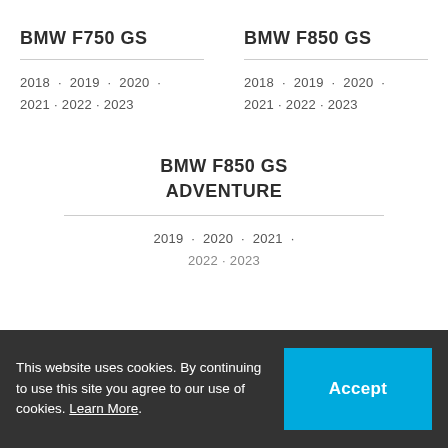BMW F750 GS
2018 · 2019 · 2020 · 2021 · 2022 · 2023
BMW F850 GS
2018 · 2019 · 2020 · 2021 · 2022 · 2023
BMW F850 GS ADVENTURE
2019 · 2020 · 2021 · 2022 · 2023
This website uses cookies. By continuing to use this site you agree to our use of cookies. Learn More.